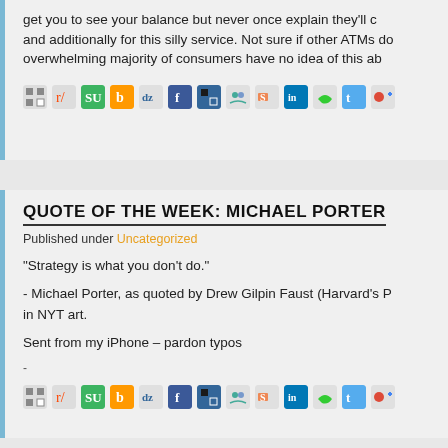get you to see your balance but never once explain they'll ch and additionally for this silly service. Not sure if other ATMs do overwhelming majority of consumers have no idea of this ab
[Figure (other): Row of social sharing icons including Reddit, StumbleUpon, Buzz, Digg, Facebook, Delicious, Friendster, Skype, LinkedIn, GreenQloud, Twitter, Google+]
QUOTE OF THE WEEK: MICHAEL PORTER
Published under Uncategorized
“Strategy is what you don’t do.”
- Michael Porter, as quoted by Drew Gilpin Faust (Harvard’s P in NYT art.
Sent from my iPhone – pardon typos
-
[Figure (other): Row of social sharing icons including Reddit, StumbleUpon, Buzz, Digg, Facebook, Delicious, Friendster, Skype, LinkedIn, GreenQloud, Twitter, Google+]